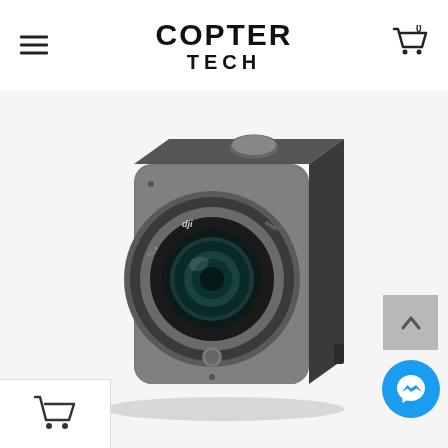COPTER TECH
[Figure (photo): DJI action camera with wide-angle lens shown at an angle, square body with dark gray/black finish and silver lens ring]
[Figure (other): Scroll to top button (chevron up arrow on gray background)]
[Figure (other): Facebook Messenger chat button (blue circle with lightning bolt/messenger icon)]
[Figure (other): Shopping cart icon in bottom left corner]